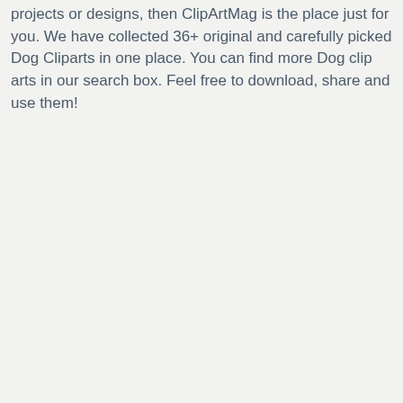projects or designs, then ClipArtMag is the place just for you. We have collected 36+ original and carefully picked Dog Cliparts in one place. You can find more Dog clip arts in our search box. Feel free to download, share and use them!